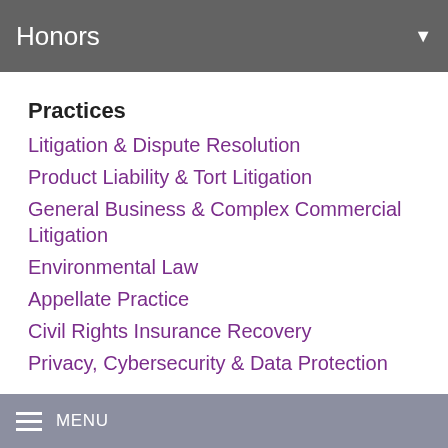Honors
Practices
Litigation & Dispute Resolution
Product Liability & Tort Litigation
General Business & Complex Commercial Litigation
Environmental Law
Appellate Practice
Civil Rights Insurance Recovery
Privacy, Cybersecurity & Data Protection
Court Memberships
Missouri
Illinois
Minnesota
MENU